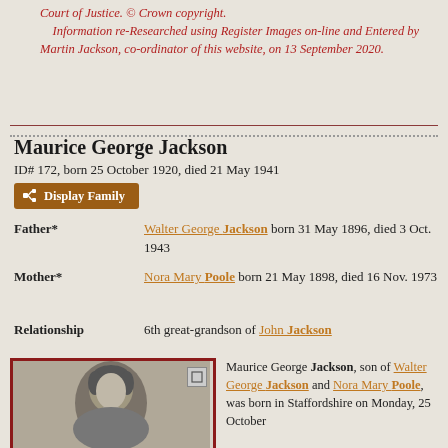Court of Justice. © Crown copyright. Information re-Researched using Register Images on-line and Entered by Martin Jackson, co-ordinator of this website, on 13 September 2020.
Maurice George Jackson
ID# 172, born 25 October 1920, died 21 May 1941
Display Family
Father*: Walter George Jackson born 31 May 1896, died 3 Oct. 1943
Mother*: Nora Mary Poole born 21 May 1898, died 16 Nov. 1973
Relationship: 6th great-grandson of John Jackson
[Figure (photo): Black and white portrait photograph of Maurice George Jackson]
Maurice George Jackson, son of Walter George Jackson and Nora Mary Poole, was born in Staffordshire on Monday, 25 October